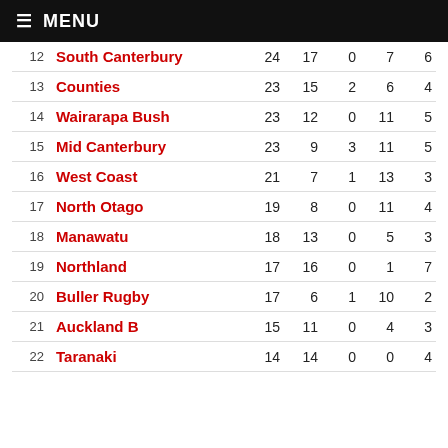≡ MENU
| # | Team | Pts | W | D | L | BP |
| --- | --- | --- | --- | --- | --- | --- |
| 12 | South Canterbury | 24 | 17 | 0 | 7 | 6 |
| 13 | Counties | 23 | 15 | 2 | 6 | 4 |
| 14 | Wairarapa Bush | 23 | 12 | 0 | 11 | 5 |
| 15 | Mid Canterbury | 23 | 9 | 3 | 11 | 5 |
| 16 | West Coast | 21 | 7 | 1 | 13 | 3 |
| 17 | North Otago | 19 | 8 | 0 | 11 | 4 |
| 18 | Manawatu | 18 | 13 | 0 | 5 | 3 |
| 19 | Northland | 17 | 16 | 0 | 1 | 7 |
| 20 | Buller Rugby | 17 | 6 | 1 | 10 | 2 |
| 21 | Auckland B | 15 | 11 | 0 | 4 | 3 |
| 22 | Taranaki | 14 | 14 | 0 | 0 | 4 |